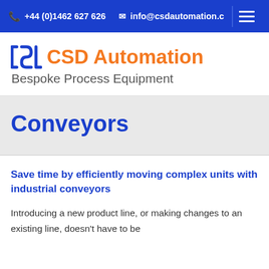+44 (0)1462 627 626   info@csdautomation.c
[Figure (logo): CSD Automation logo with orange C-S-D bracket icon and orange 'CSD Automation' text, with gray 'Bespoke Process Equipment' tagline]
Conveyors
Save time by efficiently moving complex units with industrial conveyors
Introducing a new product line, or making changes to an existing line, doesn't have to be